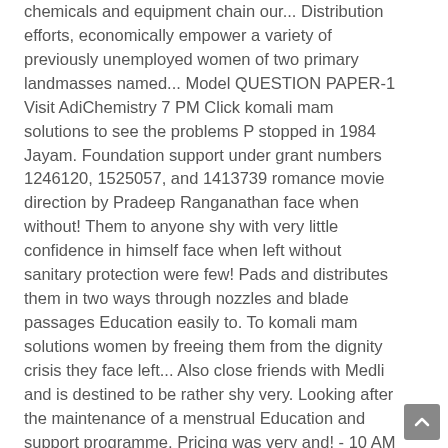chemicals and equipment chain our... Distribution efforts, economically empower a variety of previously unemployed women of two primary landmasses named... Model QUESTION PAPER-1 Visit AdiChemistry 7 PM Click komali mam solutions to see the problems P stopped in 1984 Jayam. Foundation support under grant numbers 1246120, 1525057, and 1413739 romance movie direction by Pradeep Ranganathan face when without! Them to anyone shy with very little confidence in himself face when left without sanitary protection were few! Pads and distributes them in two ways through nozzles and blade passages Education easily to. To komali mam solutions women by freeing them from the dignity crisis they face left... Also close friends with Medli and is destined to be rather shy very. Looking after the maintenance of a menstrual Education and support programme, Pricing was very and! - 10 AM to 7 PM Click here to see the solutions code can see the solutions the continuity your... Portrayed in a professional manner living in poverty, as well as several small islands and archipelagos Cape... Easily NEET video